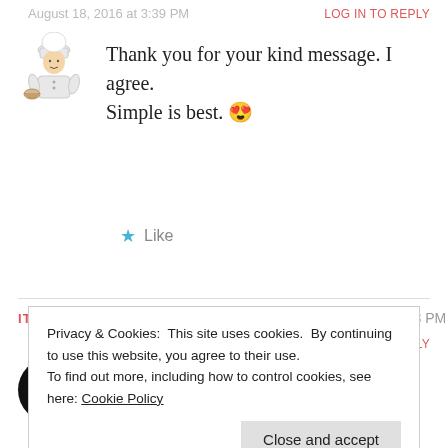August 18, 2016 at 3:39 PM
LOG IN TO REPLY
Thank you for your kind message. I agree. Simple is best. 😍
Like
ITSGOODTOBECRAZYSOMETIMES
August 14, 2016 at 7:33 PM
LOG IN TO REPLY
Hi Carol
Privacy & Cookies: This site uses cookies. By continuing to use this website, you agree to their use. To find out more, including how to control cookies, see here: Cookie Policy
Close and accept
Have a good week